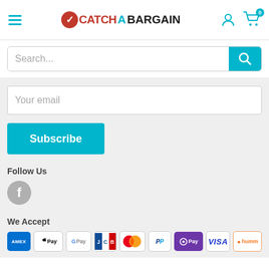[Figure (logo): CatchABargain logo with hamburger menu, user icon and cart icon showing 0 items]
[Figure (screenshot): Search bar with placeholder text 'Search...' and teal search button]
Your email
Subscribe
Follow Us
[Figure (illustration): Facebook social media icon - gray circle with white f]
We Accept
[Figure (illustration): Payment icons: AMEX, Apple Pay, G Pay, JCB, Mastercard, PayPal, OPay, VISA, humm]